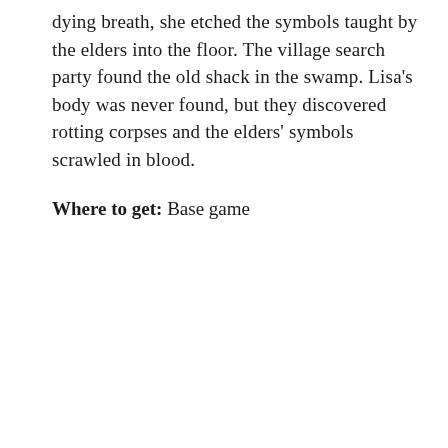dying breath, she etched the symbols taught by the elders into the floor. The village search party found the old shack in the swamp. Lisa's body was never found, but they discovered rotting corpses and the elders' symbols scrawled in blood.
Where to get: Base game
[Figure (illustration): A dark, unsettling figure wearing a black latex/leather mask with glowing white eyes and a metal cage/brace over the head. The figure appears zombie-like or horror-themed against a white background.]